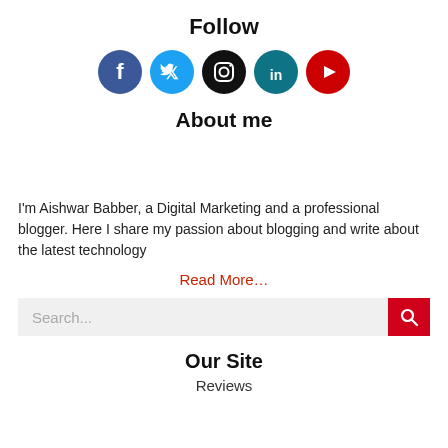Follow
[Figure (illustration): Row of five social media icon circles: Facebook (dark blue), Twitter (light blue), Instagram (black), LinkedIn (dark teal), YouTube (red)]
About me
I'm Aishwar Babber, a Digital Marketing and a professional blogger. Here I share my passion about blogging and write about the latest technology
Read More…
[Figure (screenshot): Search input bar with placeholder text 'Search...' and a red search button with magnifier icon]
Our Site
Reviews